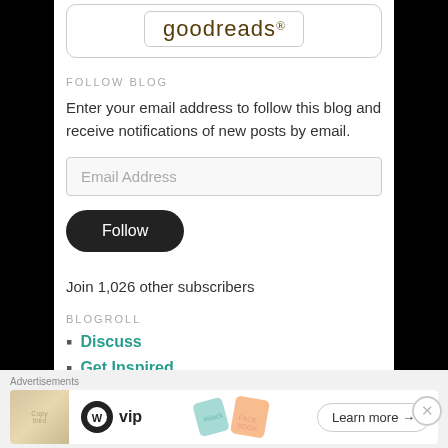[Figure (logo): Goodreads logo inside a rounded rectangle box]
FOLLOW BLOG
Enter your email address to follow this blog and receive notifications of new posts by email.
Email Address
Follow
Join 1,026 other subscribers
BLOGROLL
Discuss
Get Inspired
Advertisements
[Figure (screenshot): WordPress VIP advertisement banner with Slack, Facebook logos and Learn more button]